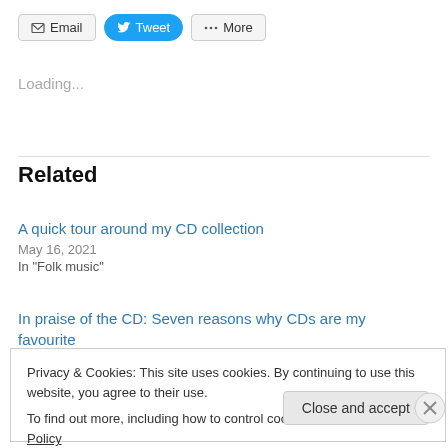[Figure (screenshot): Share buttons row: Email (envelope icon), Tweet (Twitter bird icon, blue pill), More (share icon)]
Loading...
Related
A quick tour around my CD collection
May 16, 2021
In "Folk music"
In praise of the CD: Seven reasons why CDs are my favourite music format ever
Privacy & Cookies: This site uses cookies. By continuing to use this website, you agree to their use.
To find out more, including how to control cookies, see here: Cookie Policy